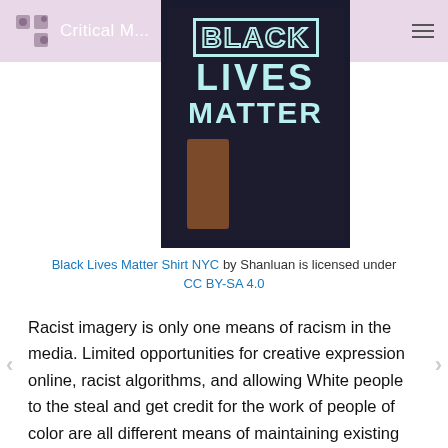Critical M...
[Figure (photo): Person wearing a black 'Black Lives Matter' t-shirt with a brown shoulder bag, outdoors.]
Black Lives Matter Shirt NYC by Shanluan is licensed under CC BY-SA 4.0
Racist imagery is only one means of racism in the media. Limited opportunities for creative expression online, racist algorithms, and allowing White people to the steal and get credit for the work of people of color are all different means of maintaining existing systems of inequality and racism.